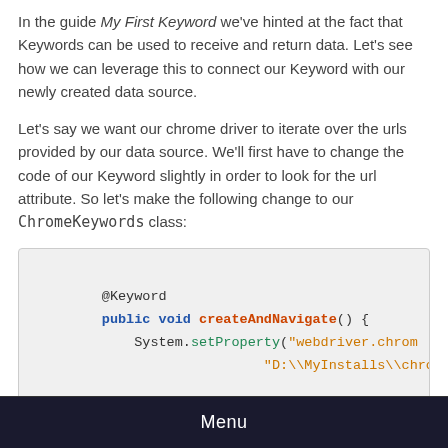In the guide My First Keyword we've hinted at the fact that Keywords can be used to receive and return data. Let's see how we can leverage this to connect our Keyword with our newly created data source.
Let's say we want our chrome driver to iterate over the urls provided by our data source. We'll first have to change the code of our Keyword slightly in order to look for the url attribute. So let's make the following change to our ChromeKeywords class:
[Figure (screenshot): Code snippet showing Java method with @Keyword annotation, public void createAndNavigate() { System.setProperty("webdriver.chrom... "D:\\MyInstalls\\chrome...]
Menu